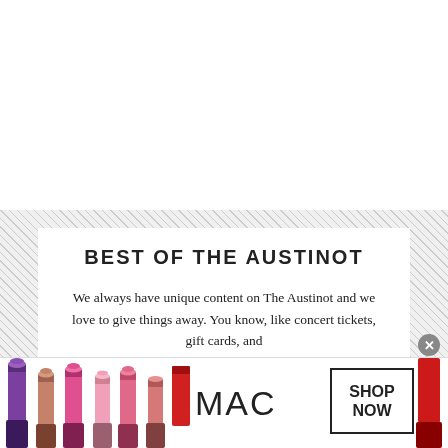BEST OF THE AUSTINOT
We always have unique content on The Austinot and we love to give things away. You know, like concert tickets, gift cards, and
[Figure (photo): MAC Cosmetics advertisement banner showing multiple lipsticks in purple, pink, and red shades on the left, MAC logo text in the center, a SHOP NOW button box, and a red lipstick on the right edge. A circular close button (x) appears in the upper right of the ad.]